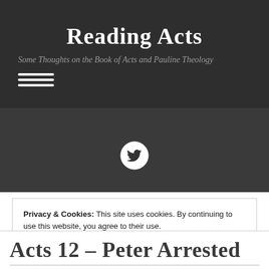Reading Acts
Some Thoughts on the Book of Acts and Pauline Theology
[Figure (illustration): Hamburger menu icon with three white horizontal lines]
[Figure (logo): Twitter bird icon in a white circle on dark background]
Privacy & Cookies: This site uses cookies. By continuing to use this website, you agree to their use.
To find out more, including how to control cookies, see here: Cookie Policy
Close and accept
Acts 12 – Peter Arrested